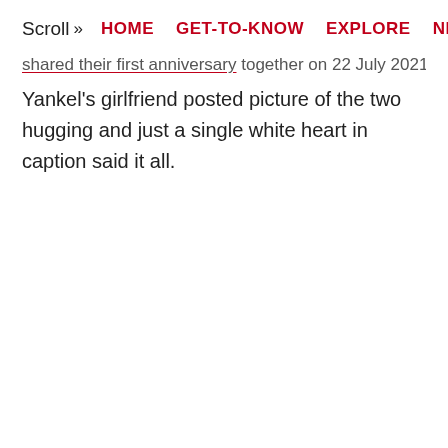Scroll » HOME  GET-TO-KNOW  EXPLORE  NEWS  A
shared their first anniversary together on 22 July 2021.
Yankel's girlfriend posted picture of the two hugging and just a single white heart in caption said it all.